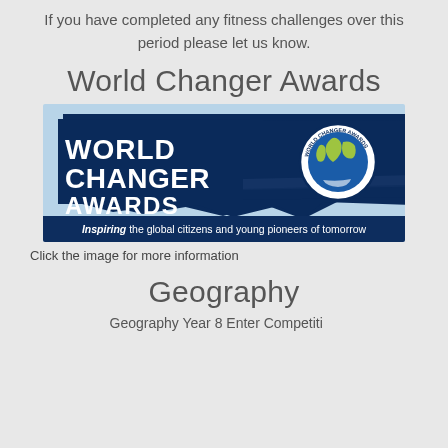If you have completed any fitness challenges over this period please let us know.
World Changer Awards
[Figure (logo): World Changer Awards banner image with dark navy brushstroke background, bold white text reading WORLD CHANGER AWARDS, circular globe logo on the right, and dark blue bar at bottom reading: Inspiring the global citizens and young pioneers of tomorrow]
Click the image for more information
Geography
Geography Year 8 Enter Competition